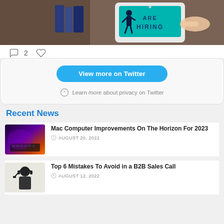[Figure (screenshot): Tablet showing 'ARE HIRING' text on teal background, on a wooden desk with books]
2
[Figure (screenshot): View more on Twitter button and privacy notice]
Recent News
[Figure (photo): Mac laptop with purple/orange lighting]
Mac Computer Improvements On The Horizon For 2023
AUGUST 20, 2022
[Figure (photo): Person wearing headset, B2B sales call representative]
Top 6 Mistakes To Avoid in a B2B Sales Call
AUGUST 12, 2022